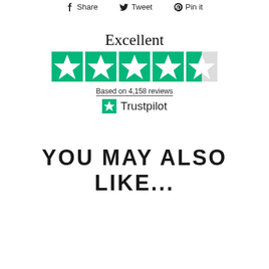[Figure (screenshot): Social share bar with Facebook Share, Twitter Tweet, and Pinterest Pin it icons]
Excellent
[Figure (other): Trustpilot 4.5 out of 5 star rating shown as 5 green star icons (last one half-filled)]
Based on 4,158 reviews
[Figure (logo): Trustpilot logo with green star icon]
YOU MAY ALSO LIKE...